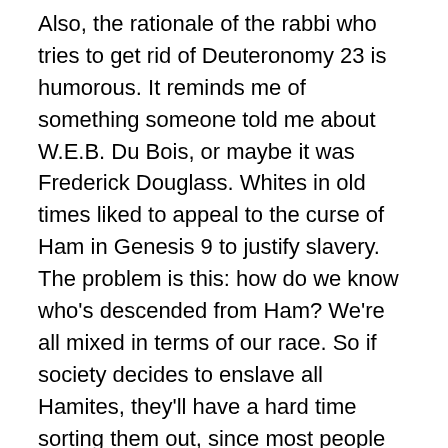Also, the rationale of the rabbi who tries to get rid of Deuteronomy 23 is humorous. It reminds me of something someone told me about W.E.B. Du Bois, or maybe it was Frederick Douglass. Whites in old times liked to appeal to the curse of Ham in Genesis 9 to justify slavery. The problem is this: how do we know who's descended from Ham? We're all mixed in terms of our race. So if society decides to enslave all Hamites, they'll have a hard time sorting them out, since most people are probably descended from a Hamite in some way, shape, or form. Who would be the slave, and who would be the master?
And this applies to other issues as well. Armstrongites like to make a big deal about how the United States and Britain are descended from Israel, as if they know this for a fact. But how can we make that claim? There's no pure line of descent, as if there are pure Brits who are